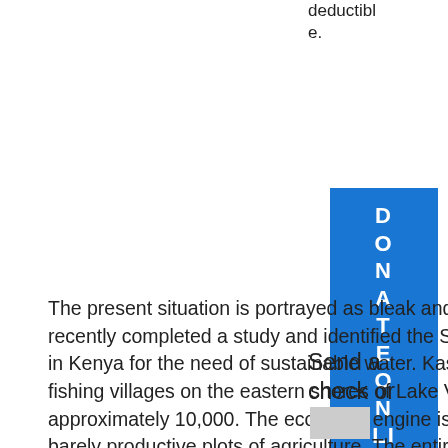deductible.
[Figure (other): Blue vertical banner with white letters spelling DONATE ONLINE vertically]
The present situation is portrayed as bleak and desperate. The Kenyan government recently completed a study and identified the SUBA District as the number two priority in Kenya for the need of sustainable water. Kaswanga and Wanyama are small fishing villages on the eastern shores of Lake Victoria, with a population of approximately 10,000. The economic engine is a small fishing industry and small, barely productive plots of agriculture. The entire area has been in drought conditions
Send a check or